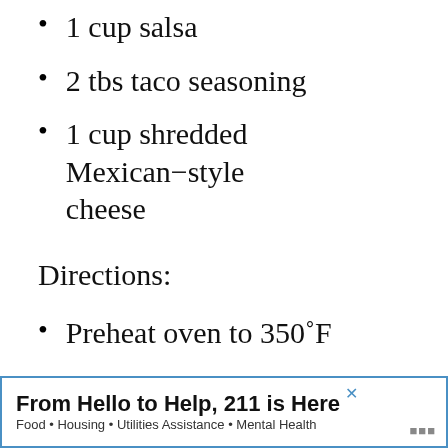1 cup salsa
2 tbs taco seasoning
1 cup shredded Mexican-style cheese
Directions:
Preheat oven to 350°F
Sprinkle taco seasoning over both sides of chicken breasts
From Hello to Help, 211 is Here
Food · Housing · Utilities Assistance · Mental Health